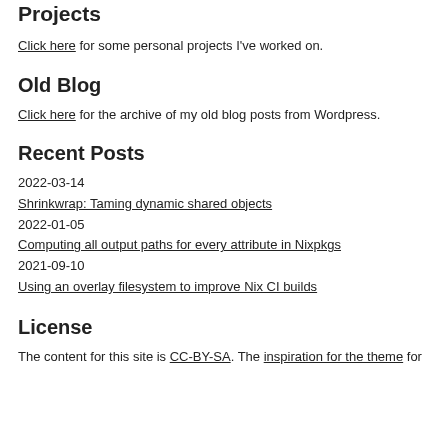Projects
Click here for some personal projects I've worked on.
Old Blog
Click here for the archive of my old blog posts from Wordpress.
Recent Posts
2022-03-14
Shrinkwrap: Taming dynamic shared objects
2022-01-05
Computing all output paths for every attribute in Nixpkgs
2021-09-10
Using an overlay filesystem to improve Nix CI builds
License
The content for this site is CC-BY-SA. The inspiration for the theme for